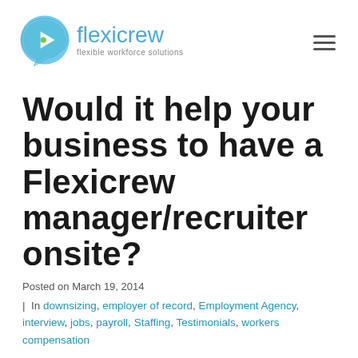flexicrew — flexible workforce solutions
Would it help your business to have a Flexicrew manager/recruiter onsite?
Posted on March 19, 2014
| In downsizing, employer of record, Employment Agency, interview, jobs, payroll, Staffing, Testimonials, workers compensation
What is an “On-site” and how can your business